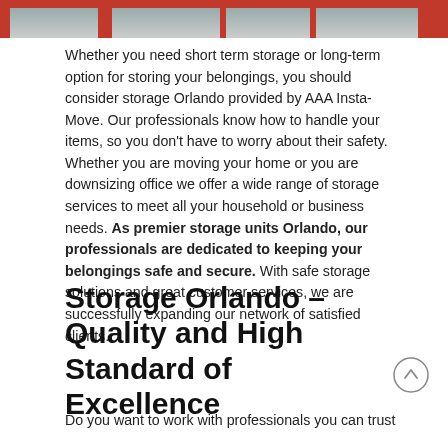[Figure (photo): Top banner image showing partial photo with red navigation bar tabs]
Whether you need short term storage or long-term option for storing your belongings, you should consider storage Orlando provided by AAA Insta- Move. Our professionals know how to handle your items, so you don't have to worry about their safety. Whether you are moving your home or you are downsizing office we offer a wide range of storage services to meet all your household or business needs. As premier storage units Orlando, our professionals are dedicated to keeping your belongings safe and secure. With safe storage solutions and great customer services, we are successfully expanding our network of satisfied clients.
Storage Orlando – Quality and High Standard of Excellence
Do you want to work with professionals you can trust